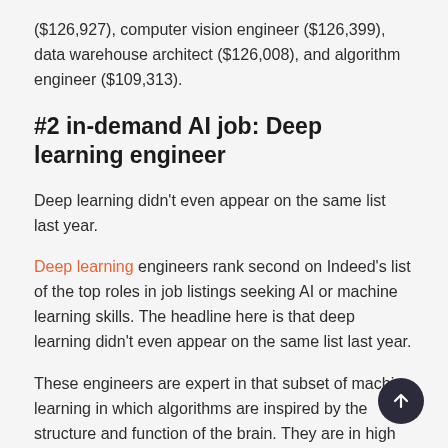($126,927), computer vision engineer ($126,399), data warehouse architect ($126,008), and algorithm engineer ($109,313).
#2 in-demand AI job: Deep learning engineer
Deep learning didn't even appear on the same list last year.
Deep learning engineers rank second on Indeed's list of the top roles in job listings seeking AI or machine learning skills. The headline here is that deep learning didn't even appear on the same list last year.
These engineers are expert in that subset of machine learning in which algorithms are inspired by the structure and function of the brain. They are in high demand in areas like autonomous driving, advanced robotics, and facial recognition systems. Deep learning could account for $3 trillion to $5.8 trillion in annual value, according